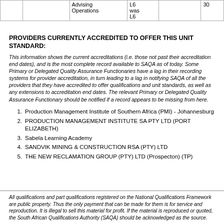|  |  | Advising Operations | L6 was L6 |  | 30 |
| --- | --- | --- | --- | --- | --- |
|  |  | Advising
Operations | L6
was
L6 |  | 30 |
PROVIDERS CURRENTLY ACCREDITED TO OFFER THIS UNIT STANDARD:
This information shows the current accreditations (i.e. those not past their accreditation end dates), and is the most complete record available to SAQA as of today. Some Primary or Delegated Quality Assurance Functionaries have a lag in their recording systems for provider accreditation, in turn leading to a lag in notifying SAQA of all the providers that they have accredited to offer qualifications and unit standards, as well as any extensions to accreditation end dates. The relevant Primary or Delegated Quality Assurance Functionary should be notified if a record appears to be missing from here.
Production Management Institute of Southern Africa (PMI) - Johannesburg
PRODUCTION MANAGEMENT INSTITUTE SA PTY LTD (PORT ELIZABETH)
Sabela Learning Academy
SANDVIK MINING & CONSTRUCTION RSA (PTY) LTD
THE NEW RECLAMATION GROUP (PTY) LTD (Prospecton) (TP)
All qualifications and part qualifications registered on the National Qualifications Framework are public property. Thus the only payment that can be made for them is for service and reproduction. It is illegal to sell this material for profit. If the material is reproduced or quoted, the South African Qualifications Authority (SAQA) should be acknowledged as the source.